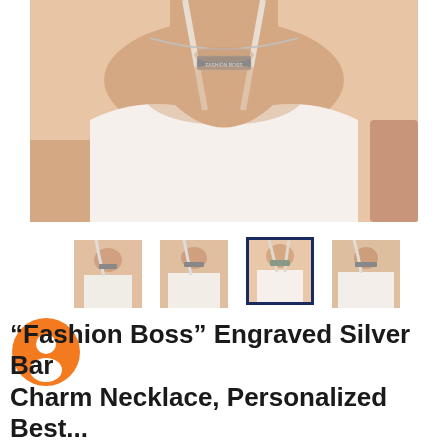[Figure (photo): Woman wearing a silver bar necklace engraved with 'Fashion Boss' over a white camisole top, showing neck and upper chest area]
[Figure (photo): Thumbnail 1: woman wearing silver bar necklace]
[Figure (photo): Thumbnail 2: woman wearing silver bar necklace, slightly different angle]
[Figure (photo): Thumbnail 3: woman wearing silver bar necklace (currently selected, shown with dark blue border)]
[Figure (photo): Thumbnail 4: woman wearing silver bar necklace, different crop]
[Figure (illustration): Orange circular user/profile avatar icon]
“Fashion Boss” Engraved Silver Bar Charm Necklace, Personalized Best...